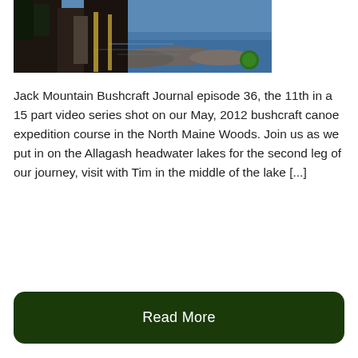[Figure (photo): Outdoor wilderness photo showing a person standing near a large tree trunk by a lake with rocky shoreline and blue water in the background]
Jack Mountain Bushcraft Journal episode 36, the 11th in a 15 part video series shot on our May, 2012 bushcraft canoe expedition course in the North Maine Woods. Join us as we put in on the Allagash headwater lakes for the second leg of our journey, visit with Tim in the middle of the lake [...]
Read More